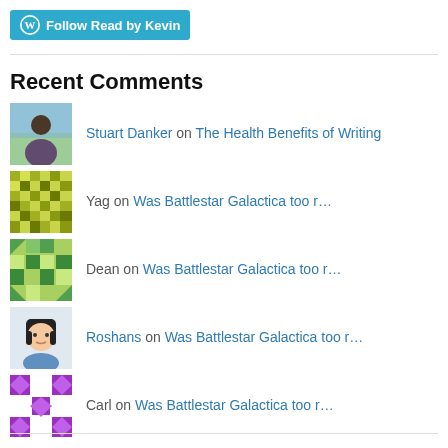[Figure (screenshot): WordPress Follow button with 'Follow Read by Kevin' text]
Recent Comments
Stuart Danker on The Health Benefits of Writing
Yag on Was Battlestar Galactica too r…
Dean on Was Battlestar Galactica too r…
Roshans on Was Battlestar Galactica too r…
Carl on Was Battlestar Galactica too r…